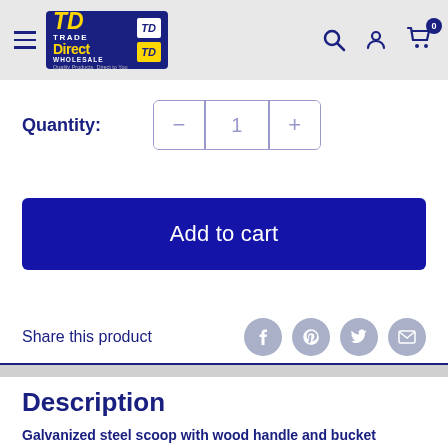[Figure (logo): Trade Direct Wholesale logo with TD initials in blue and yellow on dark blue background, with navigation icons (search, account, cart with 0 badge)]
Quantity: 1 − +
Add to cart
Share this product
Description
Galvanized steel scoop with wood handle and bucket